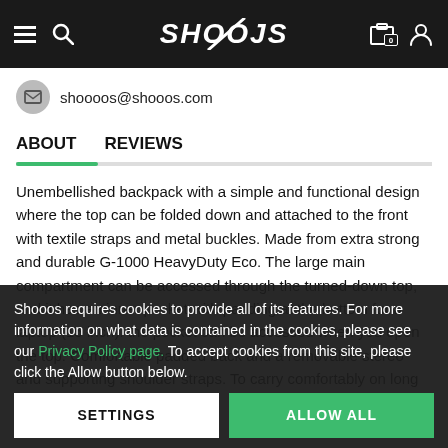SHOOOS (navigation header with logo, hamburger, search, cart, account)
shoooos@shooos.com
ABOUT    REVIEWS
Unembellished backpack with a simple and functional design where the top can be folded down and attached to the front with textile straps and metal buckles. Made from extra strong and durable G-1000 HeavyDuty Eco. The large main compartment can be accessed through the turned-down top, and it has an inner pocket with padding at the bottom for a laptop (15 inch). the pocket can be accessed when you open the top. Comfortable padded back and a removable stereo and supporting shoulder straps. To carry comfortably on long trip. Suitable both
Shooos requires cookies to provide all of its features. For more information on what data is contained in the cookies, please see our Privacy Policy page. To accept cookies from this site, please click the Allow button below.